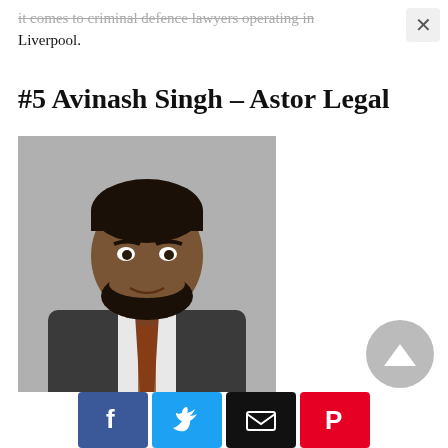...it comes to criminal defence lawyers operating in Liverpool.
#5 Avinash Singh – Astor Legal
[Figure (photo): Professional headshot of Avinash Singh wearing a dark suit and patterned tie, against a grey background]
[Figure (other): Scroll-to-top button (grey circle with upward triangle arrow)]
[Figure (other): Social share bar with Facebook (blue), Twitter (light blue), Email (black), and Pinterest (red) buttons]